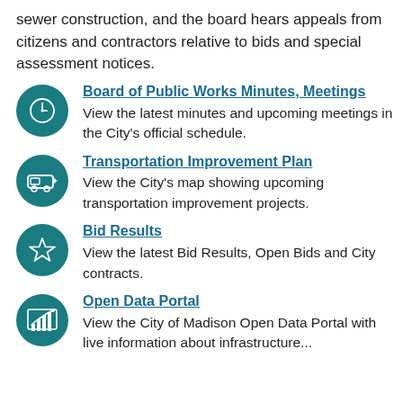sewer construction, and the board hears appeals from citizens and contractors relative to bids and special assessment notices.
Board of Public Works Minutes, Meetings
View the latest minutes and upcoming meetings in the City's official schedule.
Transportation Improvement Plan
View the City's map showing upcoming transportation improvement projects.
Bid Results
View the latest Bid Results, Open Bids and City contracts.
Open Data Portal
View the City of Madison Open Data Portal with live information about infrastructure...